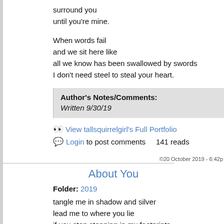surround you
until you're mine.
When words fail
and we sit here like
all we know has been swallowed by swords
I don't need steel to steal your heart.
Author's Notes/Comments:
Written 9/30/19
View tallsquirrelgirl's Full Portfolio
Login to post comments    141 reads
©20 October 2019 - 6:42p
About You
Folder: 2019
tangle me in shadow and silver
lead me to where you lie
if you stop stepping in my footprints
maybe we'll get to fly